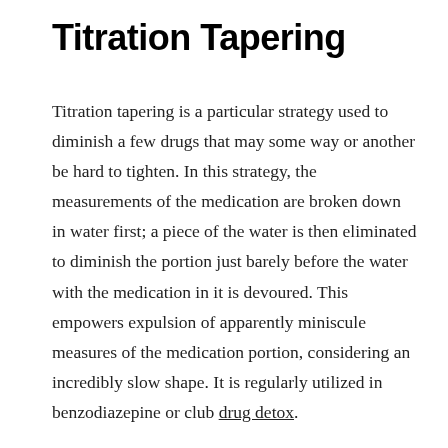Titration Tapering
Titration tapering is a particular strategy used to diminish a few drugs that may some way or another be hard to tighten. In this strategy, the measurements of the medication are broken down in water first; a piece of the water is then eliminated to diminish the portion just barely before the water with the medication in it is devoured. This empowers expulsion of apparently miniscule measures of the medication portion, considering an incredibly slow shape. It is regularly utilized in benzodiazepine or club drug detox.